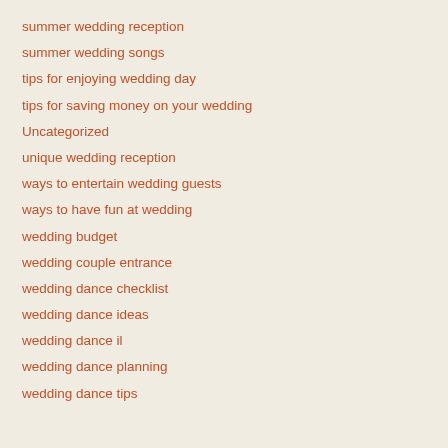summer wedding reception
summer wedding songs
tips for enjoying wedding day
tips for saving money on your wedding
Uncategorized
unique wedding reception
ways to entertain wedding guests
ways to have fun at wedding
wedding budget
wedding couple entrance
wedding dance checklist
wedding dance ideas
wedding dance il
wedding dance planning
wedding dance tips